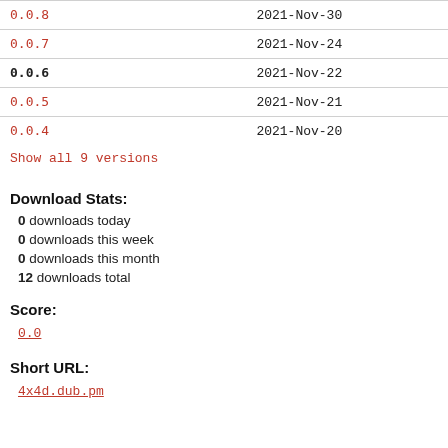| Version | Date |
| --- | --- |
| 0.0.8 | 2021-Nov-30 |
| 0.0.7 | 2021-Nov-24 |
| 0.0.6 | 2021-Nov-22 |
| 0.0.5 | 2021-Nov-21 |
| 0.0.4 | 2021-Nov-20 |
Show all 9 versions
Download Stats:
0 downloads today
0 downloads this week
0 downloads this month
12 downloads total
Score:
0.0
Short URL:
4x4d.dub.pm